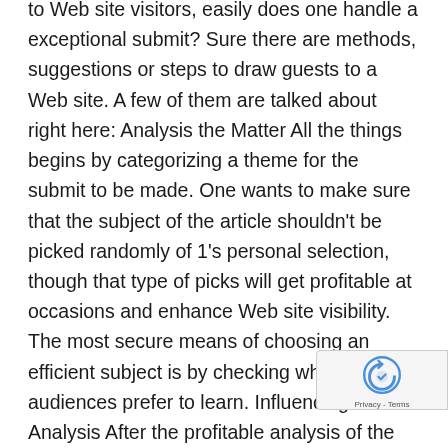to Web site visitors, easily does one handle a exceptional submit? Sure there are methods, suggestions or steps to draw guests to a Web site. A few of them are talked about right here: Analysis the Matter All the things begins by categorizing a theme for the submit to be made. One wants to make sure that the subject of the article shouldn't be picked randomly of 1's personal selection, though that type of picks will get profitable at occasions and enhance Web site visibility. The most secure means of choosing an efficient subject is by checking what the Goal audiences prefer to learn. Influencing Analysis After the profitable analysis of the subject, comes the a part of the influencers' identification. Analysis the subject once more after its choice. One can get the concepts not simply from opposite blogs or articles however from the opposite
[Figure (other): reCAPTCHA badge with logo and Privacy - Terms text]